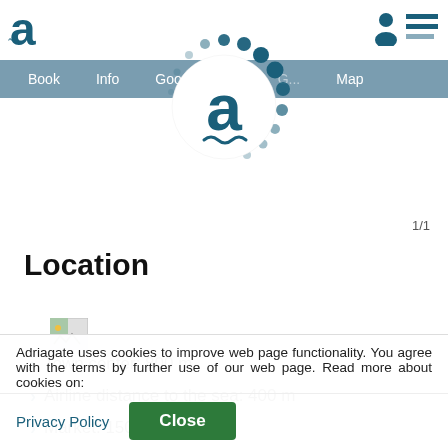Adriagate — Book | Info | Good to know | Map
[Figure (logo): Adriagate logo with animated spinner overlay — letter 'a' with tilde in a dotted circle loading animation]
1/1
Location
[Figure (illustration): Small broken/placeholder map image icon]
Town center: 800 m
Airline distance to the sea: 400 m
Market: 150 m
Adriagate uses cookies to improve web page functionality. You agree with the terms by further use of our web page. Read more about cookies on:
Privacy Policy   Close